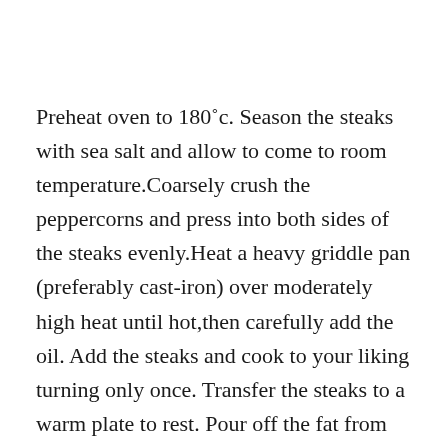Preheat oven to 180˚c. Season the steaks with sea salt and allow to come to room temperature.Coarsely crush the peppercorns and press into both sides of the steaks evenly.Heat a heavy griddle pan (preferably cast-iron) over moderately high heat until hot,then carefully add the oil. Add the steaks and cook to your liking turning only once. Transfer the steaks to a warm plate to rest. Pour off the fat from the pan then add the shallots and half of the butter and cook over low-medium heat until the shallots are well-browned.Add the Cognac (it may ignite!) and boil, stirring, until the liquid has reduced to a